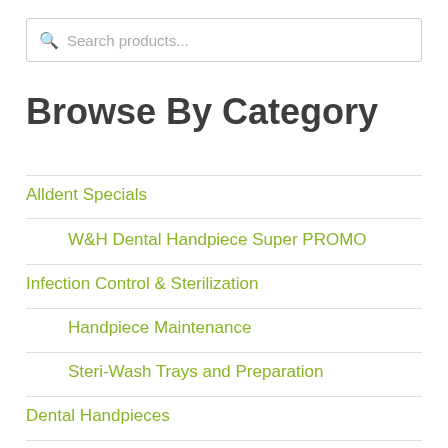Search products...
Browse By Category
Alldent Specials
W&H Dental Handpiece Super PROMO
Infection Control & Sterilization
Handpiece Maintenance
Steri-Wash Trays and Preparation
Dental Handpieces
W&H Dental Hand...